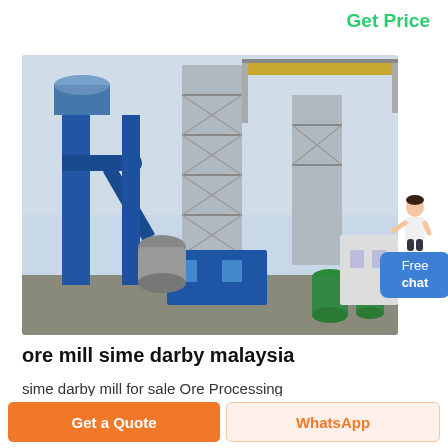Get Price
[Figure (photo): Industrial ore grinding / milling plant with tall blue steel towers, conveyor bridges, pipes, tanks, and blue building structures against a cloudy sky.]
ore mill sime darby malaysia
sime darby mill for sale Ore Processing Grinding Plant Sime Darby is a Malaysia